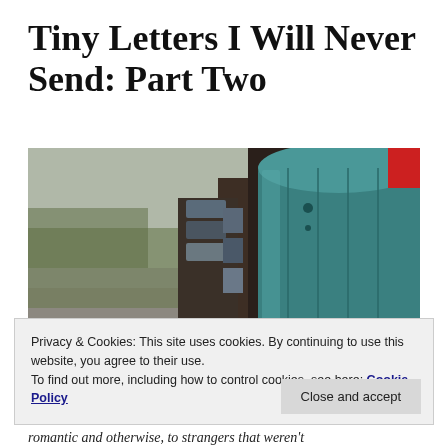Tiny Letters I Will Never Send: Part Two
[Figure (photo): Close-up photograph of a teal/turquoise metal mailbox with a row of mailboxes and a driveway in the background]
Privacy & Cookies: This site uses cookies. By continuing to use this website, you agree to their use.
To find out more, including how to control cookies, see here: Cookie Policy
romantic and otherwise, to strangers that weren't